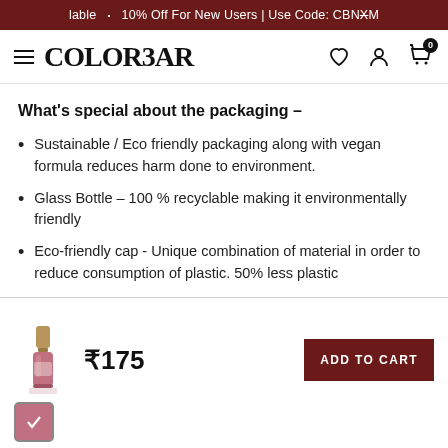lable · 10% Off For New Users | Use Code: CBNXM
COLORBAR (navigation with hamburger menu, heart, user, and cart icons)
What's special about the packaging –
Sustainable / Eco friendly packaging along with vegan formula reduces harm done to environment.
Glass Bottle – 100 % recyclable making it environmentally friendly
Eco-friendly cap - Unique combination of material in order to reduce consumption of plastic. 50% less plastic
₹175
ADD TO CART